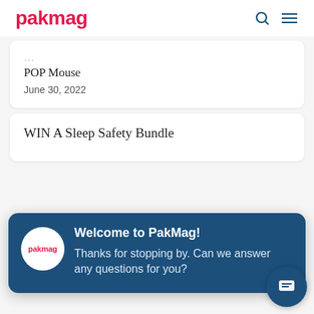pakmag
POP Mouse
June 30, 2022
WIN A Sleep Safety Bundle
[Figure (screenshot): Chat popup overlay with PakMag logo, title 'Welcome to PakMag!' and text 'Thanks for stopping by. Can we answer any questions for you?']
WIN Australian Shepherd Leanna Crossover Fluffy Slides
June 30, 2022